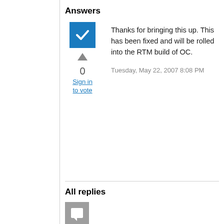Answers
[Figure (other): Blue checkbox icon with white checkmark]
[Figure (other): Gray upward triangle vote arrow, vote count 0, and 'Sign in to vote' link in blue]
Thanks for bringing this up. This has been fixed and will be rolled into the RTM build of OC.
Tuesday, May 22, 2007 8:08 PM
All replies
[Figure (other): Gray square speech bubble / comment icon]